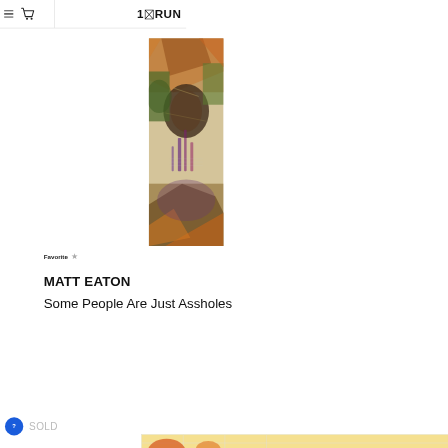1×RUN
[Figure (illustration): Vertical rectangular artwork by Matt Eaton — abstract mixed media collage with earthy greens, oranges, browns, and purples. Layered paint drips, architectural forms, and geometric shapes.]
Favorite ☆
MATT EATON
Some People Are Just Assholes
SOLD
[Figure (photo): Partial thumbnail of another artwork visible at bottom right — warm yellows and oranges with grid pattern.]